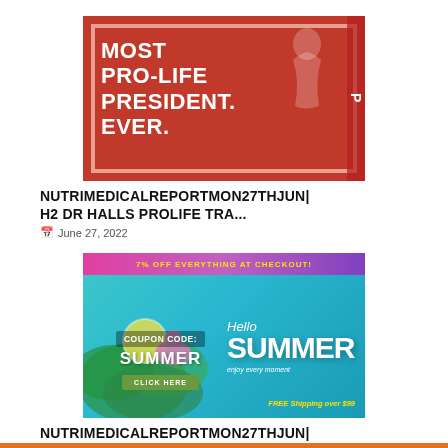[Figure (photo): Red political sign reading MOST PRO-LIFE PRESIDENT. EVER. with a silhouette illustration, held by hands]
NUTRIMEDICALREPORTMON27THJUNH2 DR HALLS PROLIFE TRA...
June 27, 2022
[Figure (photo): Summer sale advertisement banner with Hello Summer text, coupon code SUMMER, flamingo and tropical plants, teal background]
NUTRIMEDICALREPORTMON27THJUNH1 PROLIFE ROE 14TH AME...
June 27, 2022